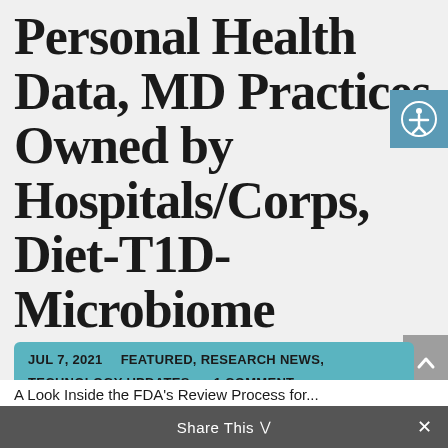Personal Health Data, MD Practices Owned by Hospitals/Corps, Diet-T1D-Microbiome
JUL 7, 2021    FEATURED, RESEARCH NEWS,  TECHNOLOGY UPDATES    1 COMMENT
Share This ∨  ×
A Look Inside the FDA's Review Process for...